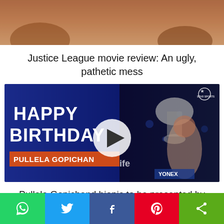[Figure (photo): Top portion of a movie/entertainment image, partially cropped, showing figures in dusty orange-toned scene]
Justice League movie review: An ugly, pathetic mess
[Figure (photo): Video thumbnail showing a Happy Birthday Pullela Gopichand graphic on the left (blue background with orange text) and a photo of Gopichand holding a trophy on the right, with a play button circle overlay. Star Sports logo visible top right. YONEX branding visible at bottom.]
Pullela Gopichand biopic to be presented by Fox Star Studios and Abundantia Entertainment
Social share bar with WhatsApp, Twitter, Facebook, Pinterest, and Share buttons